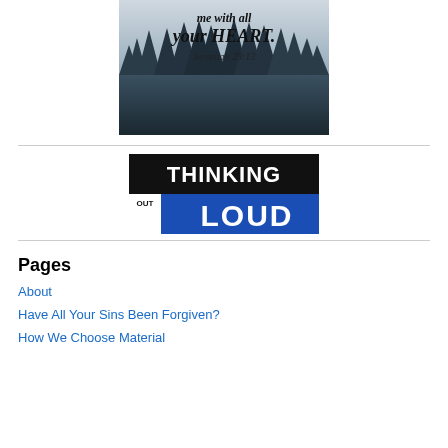[Figure (illustration): Religious inspirational image showing text 'me with all your HEART. Jeremiah 29:13' over a misty forest landscape with pine trees in dark blue-grey tones]
[Figure (logo): Thinking Out Loud logo: black background with white text 'THINKING', stacked 'OUT' in white, and blue background with white text 'LOUD']
Pages
About
Have All Your Sins Been Forgiven?
How We Choose Material